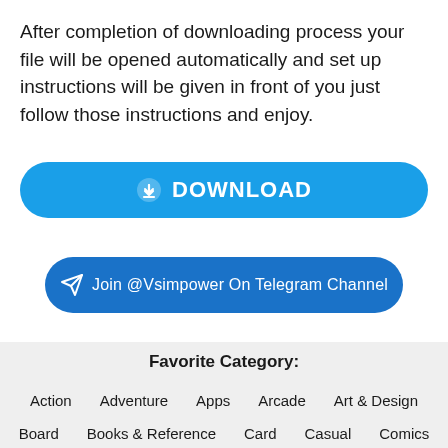After completion of downloading process your file will be opened automatically and set up instructions will be given in front of you just follow those instructions and enjoy.
[Figure (other): Blue rounded button with download icon and text 'DOWNLOAD']
[Figure (other): Blue rounded button with Telegram paper plane icon and text 'Join @Vsimpower On Telegram Channel']
Favorite Category:
Action
Adventure
Apps
Arcade
Art & Design
Board
Books & Reference
Card
Casual
Comics
Communication
Education
Emulator
Entertainment